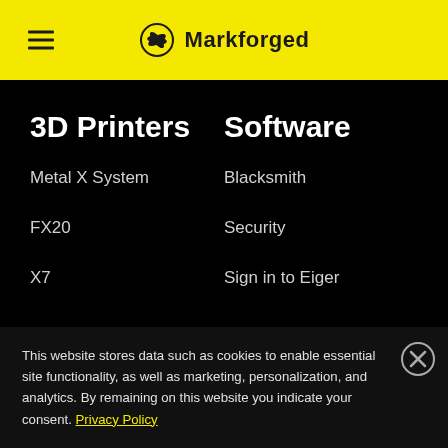Markforged
3D Printers
Software
Metal X System
Blacksmith
FX20
Security
X7
Sign in to Eiger
This website stores data such as cookies to enable essential site functionality, as well as marketing, personalization, and analytics. By remaining on this website you indicate your consent. Privacy Policy